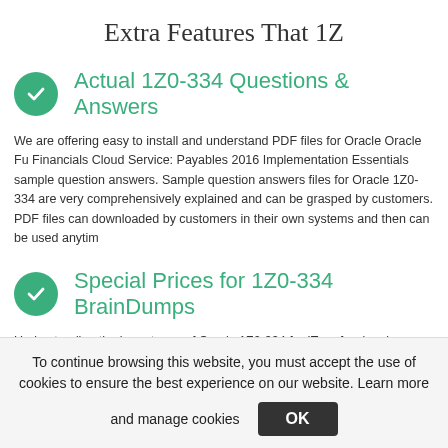Extra Features That 1Z
Actual 1Z0-334 Questions & Answers
We are offering easy to install and understand PDF files for Oracle Oracle Financials Cloud Service: Payables 2016 Implementation Essentials sample question answers. Sample question answers files for Oracle 1Z0-334 are very comprehensively explained and can be grasped by customers. PDF files can downloaded by customers in their own systems and then can be used anytim
Special Prices for 1Z0-334 BrainDumps
Understanding the importance of Oracle 1Z0-334 for IT professionals, we pro completely reasonable and discounted prices for Oracle 1Z0-334 BrainDumps
To continue browsing this website, you must accept the use of cookies to ensure the best experience on our website. Learn more and manage cookies